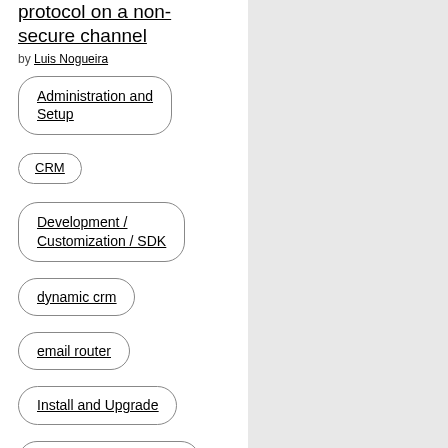protocol on a non-secure channel
by Luis Nogueira
Administration and Setup
CRM
Development / Customization / SDK
dynamic crm
email router
Install and Upgrade
microsoft dynamic 2015